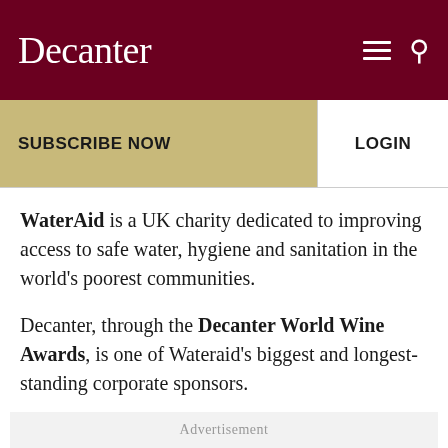Decanter
SUBSCRIBE NOW | LOGIN
WaterAid is a UK charity dedicated to improving access to safe water, hygiene and sanitation in the world's poorest communities.
Decanter, through the Decanter World Wine Awards, is one of Wateraid's biggest and longest-standing corporate sponsors.
Advertisement